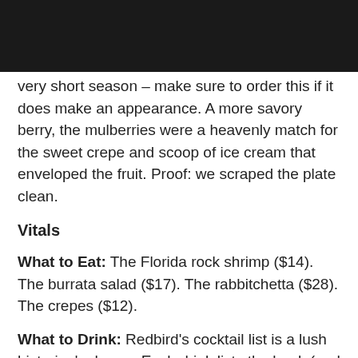very short season – make sure to order this if it does make an appearance. A more savory berry, the mulberries were a heavenly match for the sweet crepe and scoop of ice cream that enveloped the fruit. Proof: we scraped the plate clean.
Vitals
What to Eat: The Florida rock shrimp ($14). The burrata salad ($17). The rabbitchetta ($28). The crepes ($12).
What to Drink: Redbird's cocktail list is a lush historian's dream. Each drink lists the book (and year) where it was first mentioned, so that you know just how O.G. your drink really is. But the Julian Cox-designed bar program isn't all about brains—there's muscle behind these cocktails, too. When asked to recommend a cocktail, our waiter blurted